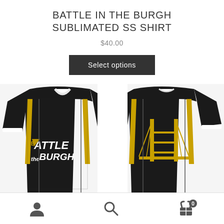BATTLE IN THE BURGH SUBLIMATED SS SHIRT
$40.00
Select options
[Figure (photo): Product photo showing front and back of a black sublimated short-sleeve shirt with gold and white accents, featuring 'BATTLE IN THE BURGH' text and a bridge graphic]
User icon | Search icon | Cart icon with badge showing 0